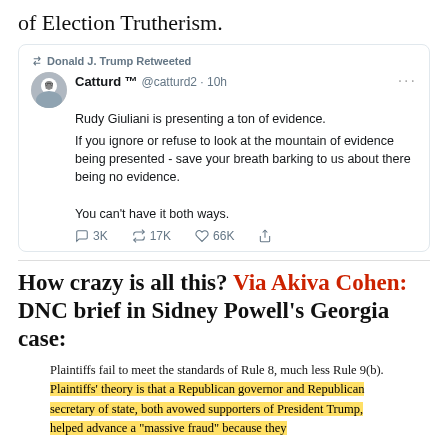of Election Trutherism.
[Figure (screenshot): Screenshot of a tweet. Donald J. Trump Retweeted. Catturd ™ @catturd2 · 10h. Rudy Giuliani is presenting a ton of evidence. If you ignore or refuse to look at the mountain of evidence being presented - save your breath barking to us about there being no evidence. You can't have it both ways. 3K retweets, 17K retweets, 66K likes.]
How crazy is all this? Via Akiva Cohen: DNC brief in Sidney Powell's Georgia case:
Plaintiffs fail to meet the standards of Rule 8, much less Rule 9(b). Plaintiffs' theory is that a Republican governor and Republican secretary of state, both avowed supporters of President Trump, helped advance a "massive fraud" because they